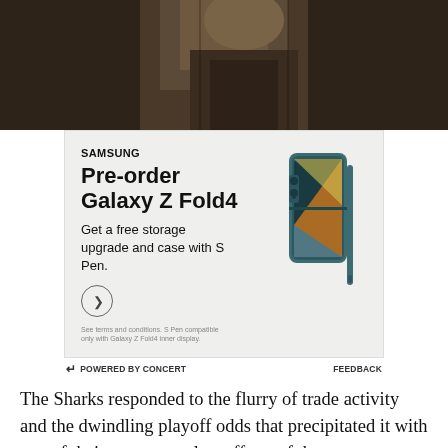[Figure (photo): Top portion of a photo showing a person, cropped — dark brown/moody background]
[Figure (screenshot): Samsung advertisement for Galaxy Z Fold4. Text: SAMSUNG, Pre-order Galaxy Z Fold4, Get a free storage upgrade and case with S Pen. Circle arrow CTA button. Fine print about terms and S Pen compatibility. Image of teal Galaxy Z Fold4 phone with S Pen.]
⏎ POWERED BY CONCERT    FEEDBACK
The Sharks responded to the flurry of trade activity and the dwindling playoff odds that precipitated it with one of their more complete efforts of the season, outshooting the top-ranked team in the East 37-20 en